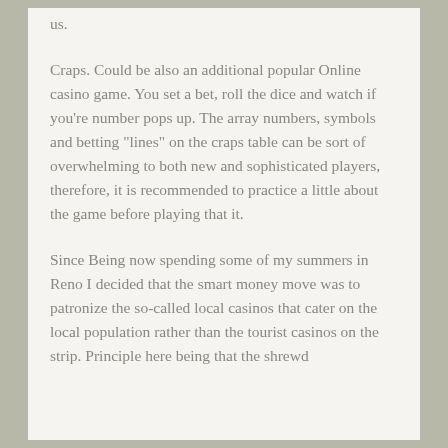us.
Craps. Could be also an additional popular Online casino game. You set a bet, roll the dice and watch if you're number pops up. The array numbers, symbols and betting "lines" on the craps table can be sort of overwhelming to both new and sophisticated players, therefore, it is recommended to practice a little about the game before playing that it.
Since Being now spending some of my summers in Reno I decided that the smart money move was to patronize the so-called local casinos that cater on the local population rather than the tourist casinos on the strip. Principle here being that the shrewd